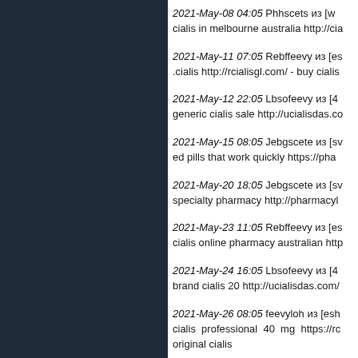2021-May-08 04:05 Phhscets из [...] cialis in melbourne australia http://cia...
2021-May-11 07:05 Rebffeevy из [es...] .cialis http://rcialisgl.com/ - buy cialis
2021-May-12 22:05 Lbsofeevy из [4...] generic cialis sale http://ucialisdas.co...
2021-May-15 08:05 Jebgscete из [sv...] ed pills that work quickly https://pha...
2021-May-20 18:05 Jebgscete из [sv...] specialty pharmacy http://pharmacyl...
2021-May-23 11:05 Rebffeevy из [es...] cialis online pharmacy australian http...
2021-May-24 16:05 Lbsofeevy из [4...] brand cialis 20 http://ucialisdas.com/...
2021-May-26 08:05 feevyloh из [esh...] cialis professional 40 mg https://rc... original cialis
2021-May-29 03:05 sceteHtf из [34t...] buy cialis 36 hour https://cialishav.c...